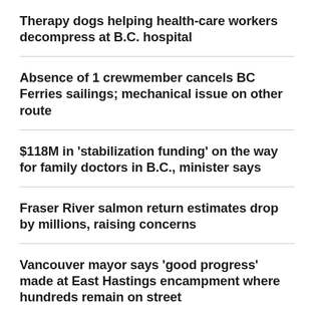Therapy dogs helping health-care workers decompress at B.C. hospital
Absence of 1 crewmember cancels BC Ferries sailings; mechanical issue on other route
$118M in 'stabilization funding' on the way for family doctors in B.C., minister says
Fraser River salmon return estimates drop by millions, raising concerns
Vancouver mayor says 'good progress' made at East Hastings encampment where hundreds remain on street